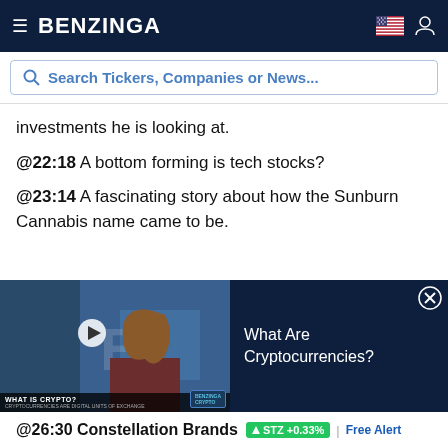BENZINGA
Search Tickers, Companies or News...
investments he is looking at.
@22:18 A bottom forming is tech stocks?
@23:14 A fascinating story about how the Sunburn Cannabis name came to be.
[Figure (screenshot): Video player thumbnail showing 'What Is Crypto?' with a woman presenter and Benzinga Crypto logo, alongside a dark panel reading 'What Are Cryptocurrencies?' with a close button]
sales is consistently increasing.
@26:30 Constellation Brands